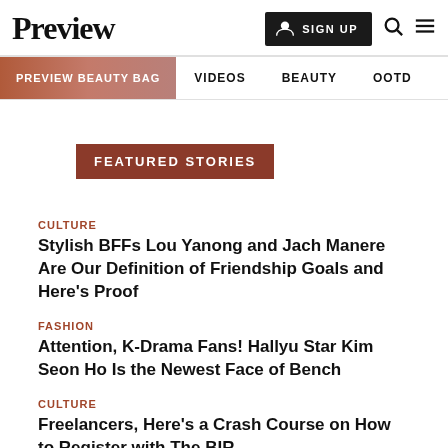Preview
PREVIEW BEAUTY BAG  VIDEOS  BEAUTY  OOTD  COVER STORIES
FEATURED STORIES
CULTURE
Stylish BFFs Lou Yanong and Jach Manere Are Our Definition of Friendship Goals and Here's Proof
FASHION
Attention, K-Drama Fans! Hallyu Star Kim Seon Ho Is the Newest Face of Bench
CULTURE
Freelancers, Here's a Crash Course on How to Register with The BIR
Additionally, there will be bikers and skateboarders